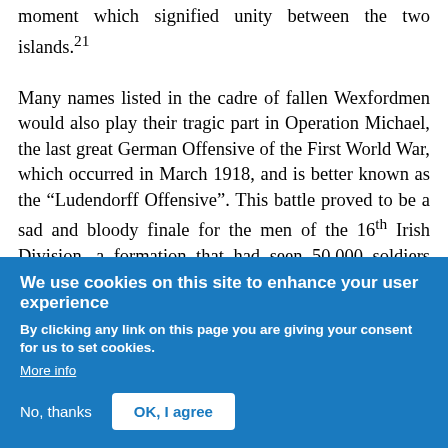moment which signified unity between the two islands.²¹

Many names listed in the cadre of fallen Wexfordmen would also play their tragic part in Operation Michael, the last great German Offensive of the First World War, which occurred in March 1918, and is better known as the “Ludendorff Offensive”. This battle proved to be a sad and bloody finale for the men of the 16th Irish Division, a formation that had seen 50,000 soldiers serve in its ranks during the war, of whom 27,000 were casualties and 8,000 had been killed.²² However, the greatest losses the division
We use cookies on this site to enhance your user experience

By clicking any link on this page you are giving your consent for us to set cookies.
More info

No, thanks   OK, I agree